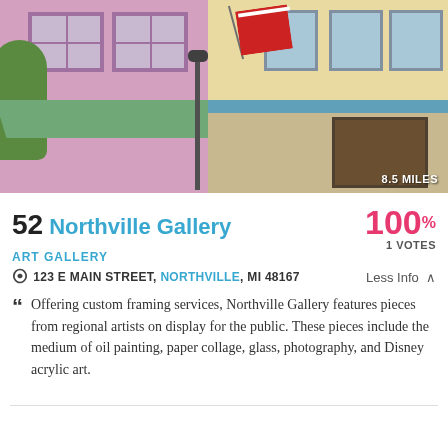[Figure (illustration): Painting of a main street scene with a pink/purple building on the left with green awning, a cream building on the right with a blue awning and storefront, an American flag, a street lamp, and trees. Distance badge reads 8.5 MILES.]
52 Northville Gallery
100% 1 VOTES
ART GALLERY
123 E MAIN STREET, NORTHVILLE, MI 48167   Less Info
Offering custom framing services, Northville Gallery features pieces from regional artists on display for the public. These pieces include the medium of oil painting, paper collage, glass, photography, and Disney acrylic art.